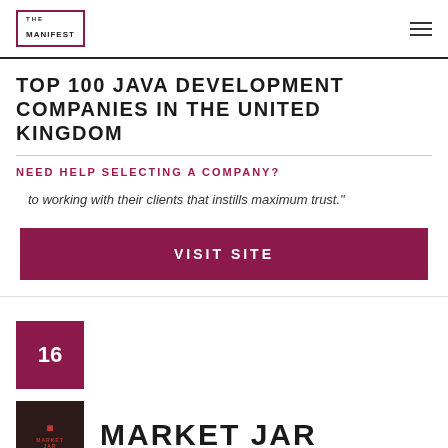THE MANIFEST
TOP 100 JAVA DEVELOPMENT COMPANIES IN THE UNITED KINGDOM
NEED HELP SELECTING A COMPANY?
to working with their clients that instills maximum trust."
VISIT SITE
16
MARKET JAR